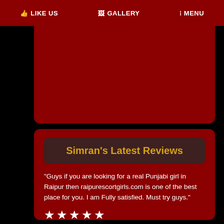LIKE US  GALLERY  MENU
Simran's Latest Reviews
"Guys if you are looking for a real Punjabi girl in Raipur then raipurescortgirls.com is one of the best place for you. I am Fully satisfied. Must try guys."
★★★★★
Made by Vivan on 14/10/2021